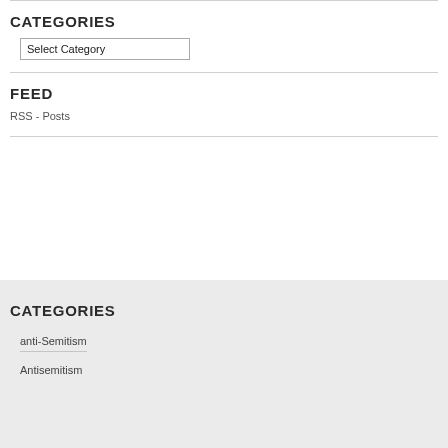CATEGORIES
Select Category
FEED
RSS - Posts
CATEGORIES
anti-Semitism
Antisemitism